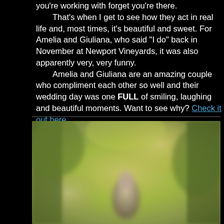you're working with forget you're there. That's when I get to see how they act in real life and, most times, it's beautiful and sweet. For Amelia and Giuliana, who said "I do" back in November at Newport Vineyards, it was also apparently very, very funny. Amelia and Giuliana are an amazing couple who compliment each other so well and their wedding day was one FULL of smiling, laughing and beautiful moments. Want to see why? Check it out here.
[Figure (photo): Blurred outdoor photo of a couple in a wooded/garden setting with warm autumn tones of yellow-green and gold. A person in a white top is visible in the lower center of the image.]